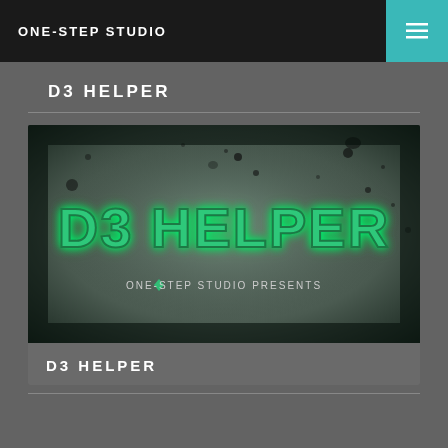ONE-STEP STUDIO
D3 HELPER
[Figure (photo): Promotional image for D3 Helper showing the logo text 'D3 HELPER' in green metallic gothic-style font on a dark grungy textured background with the subtitle 'One-Step Studio Presents']
D3 HELPER